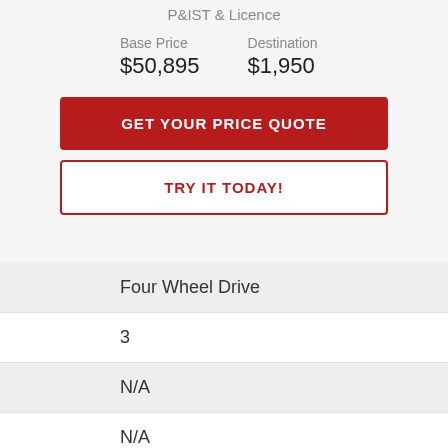P&IST & Licence
| Base Price | Destination |
| --- | --- |
| $50,895 | $1,950 |
GET YOUR PRICE QUOTE
TRY IT TODAY!
Four Wheel Drive
3
N/A
N/A